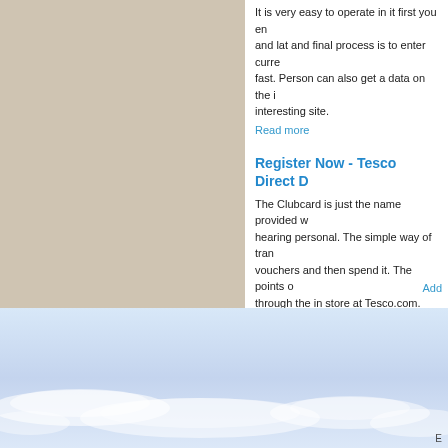It is very easy to operate in it first you enter and lat and final process is to enter curre fast. Person can also get a data on the i interesting site.
Read more
Register Now - Tesco Direct D
The Clubcard is just the name provided w hearing personal. The simple way of tra vouchers and then spend it. The points through the in store at Tesco.com.
Read more
Add
[Figure (photo): Sky with light blue tones and wispy white clouds]
E